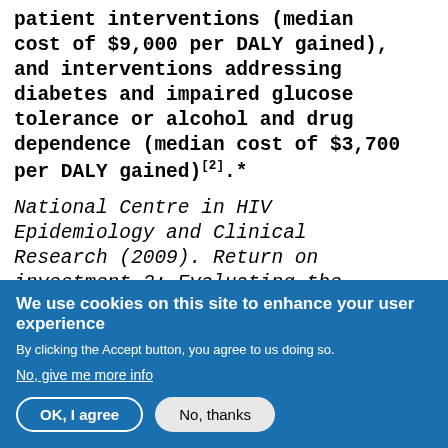patient interventions (median cost of $9,000 per DALY gained), and interventions addressing diabetes and impaired glucose tolerance or alcohol and drug dependence (median cost of $3,700 per DALY gained)[2].*
National Centre in HIV Epidemiology and Clinical Research (2009). Return on investment 2: Evaluating the cost-effectiveness of needle and syringe programs in Australia 2009. The University of New South Wales, Sydney, pp. 8-9
We use cookies on this site to enhance your user experience
By clicking the Accept button, you agree to us doing so.
No, give me more info
OK, I agree
No, thanks